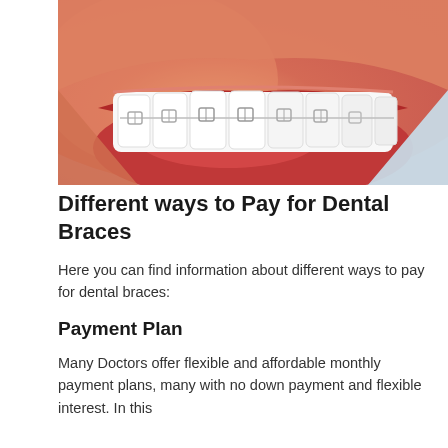[Figure (photo): Close-up photo of a person smiling showing white teeth with clear dental braces on upper teeth, with lips visible and a light blue background]
Different ways to Pay for Dental Braces
Here you can find information about different ways to pay for dental braces:
Payment Plan
Many Doctors offer flexible and affordable monthly payment plans, many with no down payment and flexible interest. In this